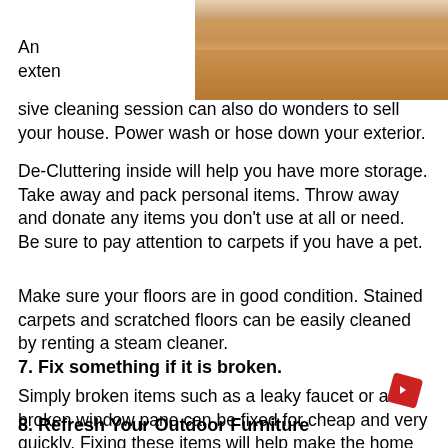[Figure (photo): Photo of a wooden floor with what appears to be a mop or cleaning tool at the top]
An extensive cleaning session can also do wonders to sell your house. Power wash or hose down your exterior.
De-Cluttering inside will help you have more storage. Take away and pack personal items. Throw away and donate any items you don't use at all or need. Be sure to pay attention to carpets if you have a pet.
Make sure your floors are in good condition. Stained carpets and scratched floors can be easily cleaned by renting a steam cleaner.
7. Fix something if it is broken.
Simply broken items such as a leaky faucet or a broken window pane can be fixed for cheap and very quickly. Fixing these items will help make the home ready to move in to and give the buyer less work.
8. Refresh Your Outdoor Furniture